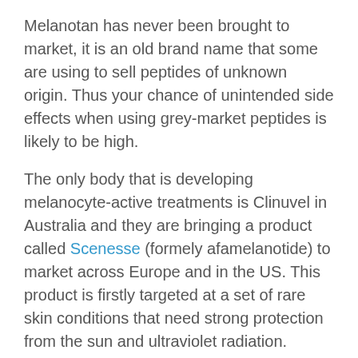Melanotan has never been brought to market, it is an old brand name that some are using to sell peptides of unknown origin. Thus your chance of unintended side effects when using grey-market peptides is likely to be high.
The only body that is developing melanocyte-active treatments is Clinuvel in Australia and they are bringing a product called Scenesse (formely afamelanotide) to market across Europe and in the US. This product is firstly targeted at a set of rare skin conditions that need strong protection from the sun and ultraviolet radiation.
Pretty pills: The dark side of the latest underground beauty trend